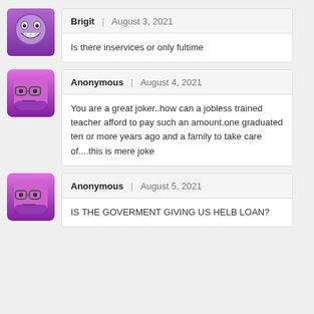Brigit | August 3, 2021 — Is there inservices or only fultime
Anonymous | August 4, 2021 — You are a great joker..how can a jobless trained teacher afford to pay such an amount.one graduated ten or more years ago and a family to take care of....this is mere joke
Anonymous | August 5, 2021 — IS THE GOVERMENT GIVING US HELB LOAN?